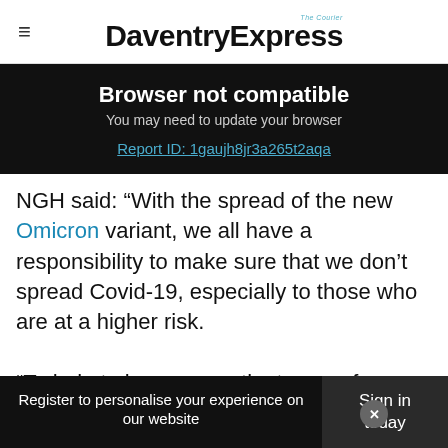Daventry Express
[Figure (screenshot): Browser not compatible banner with text 'You may need to update your browser' and a report ID link: Report ID: 1gaujh8jr3a265t2aqa]
NGH said: “With the spread of the new Omicron variant, we all have a responsibility to make sure that we don’t spread Covid-19, especially to those who are at a higher risk.

“To help to keep our patients as safe as possible from Covid-19 we will be introducing the lateral
Register to personalise your experience on our website | Sign today